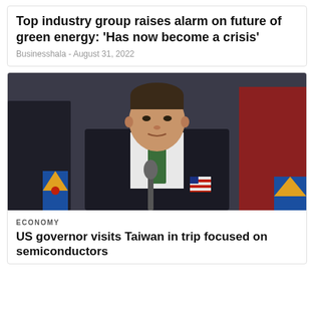Top industry group raises alarm on future of green energy: ‘Has now become a crisis’
Businesshala - August 31, 2022
[Figure (photo): A man in a dark suit with a green tie speaks at a podium with microphones; Arizona state flags and a US flag visible in the background.]
ECONOMY
US governor visits Taiwan in trip focused on semiconductors